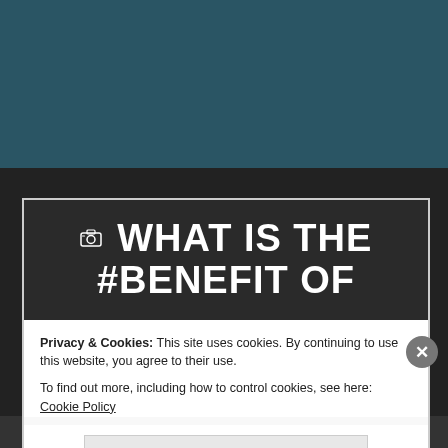[Figure (screenshot): Teal/dark background behind a website modal overlay]
WHAT IS THE #BENEFIT OF
Privacy & Cookies: This site uses cookies. By continuing to use this website, you agree to their use.
To find out more, including how to control cookies, see here: Cookie Policy
Close and accept